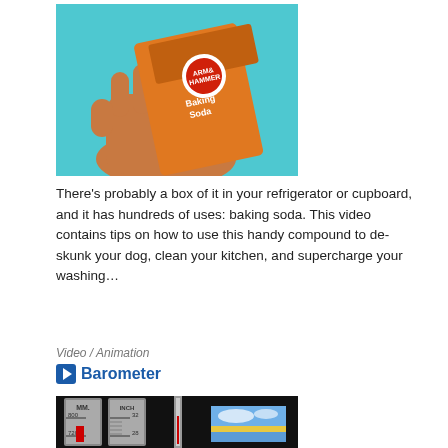[Figure (photo): A hand holding an orange box of Arm & Hammer Baking Soda against a light blue background]
There's probably a box of it in your refrigerator or cupboard, and it has hundreds of uses: baking soda. This video contains tips on how to use this handy compound to de-skunk your dog, clean your kitchen, and supercharge your washing…
Video / Animation
Barometer
[Figure (screenshot): Screenshot of a barometer animation showing MM and INCH scales with readings around 800/32 and 720/28, with a syringe and a sky image inset]